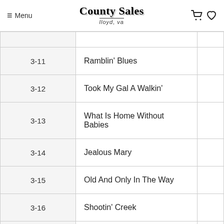Menu | County Sales lloyd, va
| Track | Title |  |
| --- | --- | --- |
| 3-11 | Ramblin' Blues |  |
| 3-12 | Took My Gal A Walkin' |  |
| 3-13 | What Is Home Without Babies |  |
| 3-14 | Jealous Mary |  |
| 3-15 | Old And Only In The Way |  |
| 3-16 | Shootin' Creek |  |
| 3-17 | Bill Mason |  |